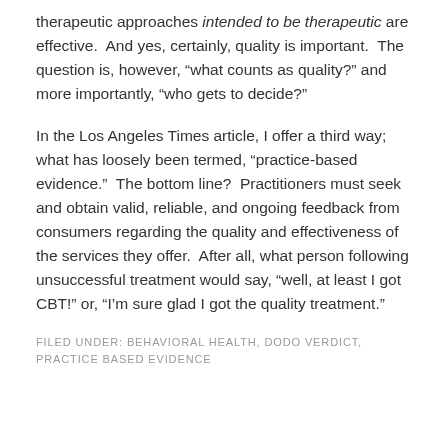therapeutic approaches intended to be therapeutic are effective.  And yes, certainly, quality is important.  The question is, however, "what counts as quality?" and more importantly, "who gets to decide?"
In the Los Angeles Times article, I offer a third way; what has loosely been termed, "practice-based evidence."  The bottom line?  Practitioners must seek and obtain valid, reliable, and ongoing feedback from consumers regarding the quality and effectiveness of the services they offer.  After all, what person following unsuccessful treatment would say, "well, at least I got CBT!" or, "I'm sure glad I got the quality treatment."
FILED UNDER: BEHAVIORAL HEALTH, DODO VERDICT, PRACTICE BASED EVIDENCE